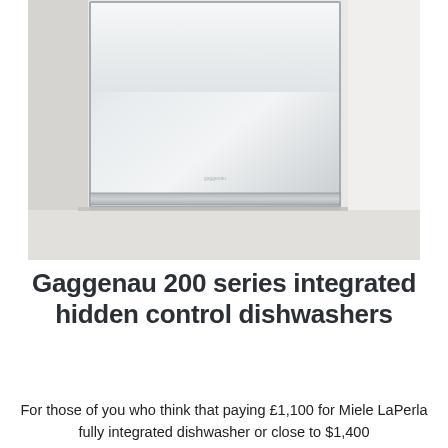[Figure (photo): Photo of a Gaggenau 200 series fully integrated dishwasher with hidden controls, showing the clean flat stainless steel door panel installed flush in a white kitchen cabinet unit. The door has a slim silver handle strip at the bottom.]
Gaggenau 200 series integrated hidden control dishwashers
For those of you who think that paying £1,100 for Miele LaPerla fully integrated dishwasher or close to $1,400